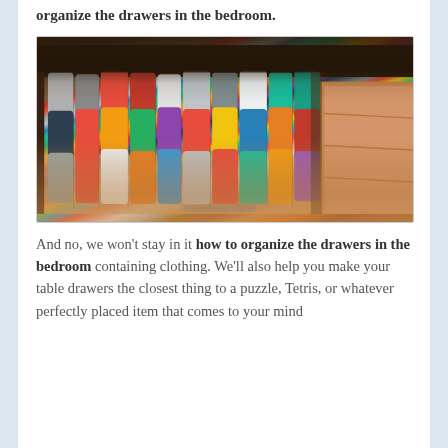organize the drawers in the bedroom.
[Figure (photo): Photo of an open bedroom dresser drawer neatly organized with colorful folded and rolled clothing items arranged vertically, sitting on a wooden floor.]
And no, we won't stay in it how to organize the drawers in the bedroom containing clothing. We'll also help you make your table drawers the closest thing to a puzzle, Tetris, or whatever perfectly placed item that comes to your mind